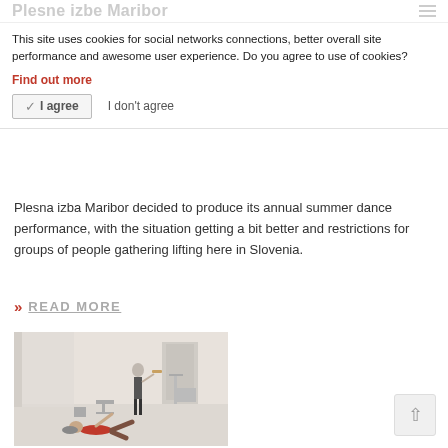Plesne izbe Maribor
This site uses cookies for social networks connections, better overall site performance and awesome user experience. Do you agree to use of cookies?
Find out more
I agree   I don't agree
Plesna izba Maribor decided to produce its annual summer dance performance, with the situation getting a bit better and restrictions for groups of people gathering lifting here in Slovenia.
>> READ MORE
[Figure (photo): A dancer lying on the floor in a red top with arms extended, while a violinist plays standing in the background of a bright studio space.]